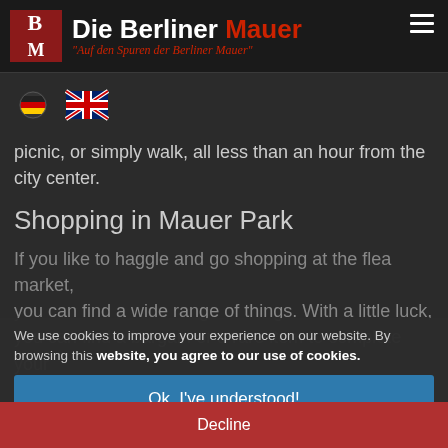Die Berliner Mauer – Auf den Spuren der Berliner Mauer
[Figure (logo): BM logo box in red with white text, followed by site title 'Die Berliner Mauer' and subtitle 'Auf den Spuren der Berliner Mauer' in italic red]
[Figure (illustration): German flag and UK flag icons for language selection]
picnic, or simply walk, all less than an hour from the city center.
Shopping in Mauer Park
If you like to haggle and go shopping at the flea market, you can find a wide range of things. With a little luck, you can find a bargain or a rare item to complete your collection of all kinds of
We use cookies to improve your experience on our website. By browsing this website, you agree to our use of cookies.
Ok, I've understood!
Decline